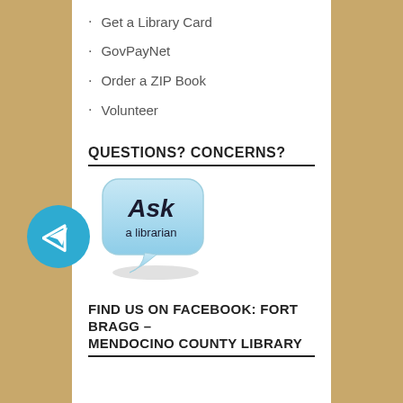Get a Library Card
GovPayNet
Order a ZIP Book
Volunteer
QUESTIONS? CONCERNS?
[Figure (illustration): Speech bubble graphic with text 'Ask a librarian' in blue rounded rectangle style]
FIND US ON FACEBOOK: FORT BRAGG – MENDOCINO COUNTY LIBRARY